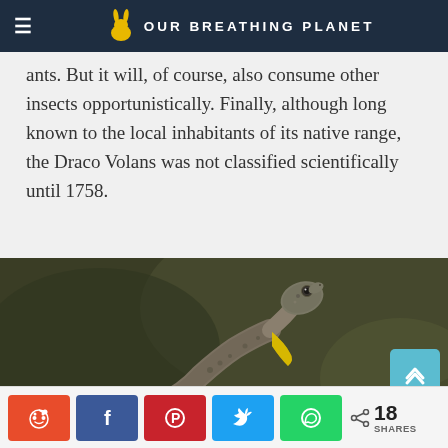OUR BREATHING PLANET
ants. But it will, of course, also consume other insects opportunistically. Finally, although long known to the local inhabitants of its native range, the Draco Volans was not classified scientifically until 1758.
[Figure (photo): Close-up photograph of a Draco Volans lizard with a yellow dewlap, perched and looking upward against a blurred dark green background.]
< 18 SHARES (with Reddit, Facebook, Pinterest, Twitter, WhatsApp share buttons)